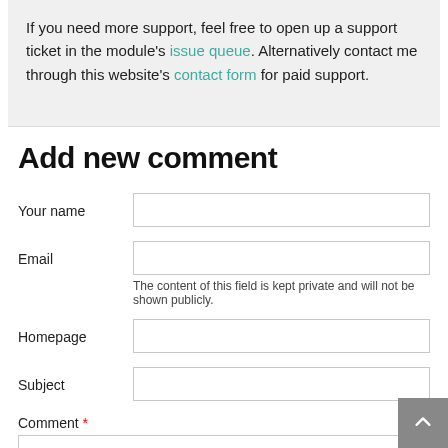If you need more support, feel free to open up a support ticket in the module's issue queue. Alternatively contact me through this website's contact form for paid support.
Add new comment
Your name
Email
The content of this field is kept private and will not be shown publicly.
Homepage
Subject
Comment *